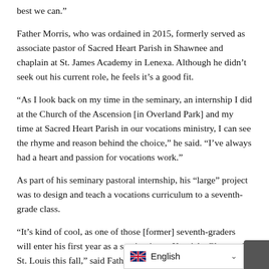best we can.”
Father Morris, who was ordained in 2015, formerly served as associate pastor of Sacred Heart Parish in Shawnee and chaplain at St. James Academy in Lenexa. Although he didn’t seek out his current role, he feels it’s a good fit.
“As I look back on my time in the seminary, an internship I did at the Church of the Ascension [in Overland Park] and my time at Sacred Heart Parish in our vocations ministry, I can see the rhyme and reason behind the choice,” he said. “I’ve always had a heart and passion for vocations work.”
As part of his seminary pastoral internship, his “large” project was to design and teach a vocations curriculum to a seventh-grade class.
“It’s kind of cool, as one of those [former] seventh-graders will enter his first year as a seminarian at Kenrick- Glennon in St. Louis this fall,” said Father